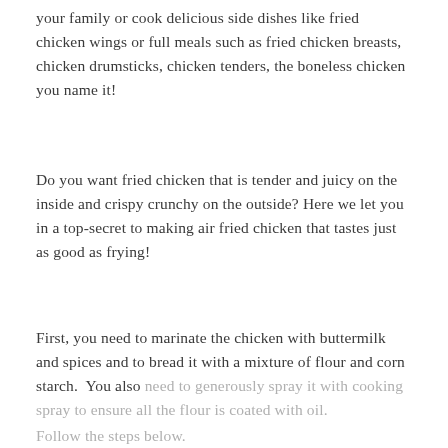your family or cook delicious side dishes like fried chicken wings or full meals such as fried chicken breasts, chicken drumsticks, chicken tenders, the boneless chicken you name it!
Do you want fried chicken that is tender and juicy on the inside and crispy crunchy on the outside? Here we let you in a top-secret to making air fried chicken that tastes just as good as frying!
First, you need to marinate the chicken with buttermilk and spices and to bread it with a mixture of flour and corn starch. You also need to generously spray it with cooking spray to ensure all the flour is coated with oil.
Follow the steps below.